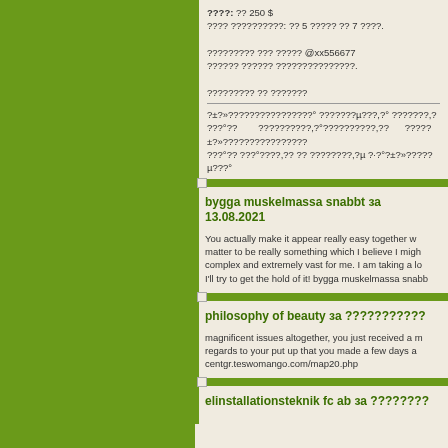????: ?? 250 $
???? ??????????: ?? 5 ????? ?? 7 ????.

????????? ??? ????? @xx556677
?????? ?????? ???????????????.

????????? ?? ???????
?±?»????????????????° ???????µ???,?° ???????,??
???°??      ??????????,?°??????????,??      ?????
±?»?????????????????
???°?? ???°????,?? ?? ????????,?µ ?·?°?±?»?????
µ???°
bygga muskelmassa snabbt зa 13.08.2021
You actually make it appear really easy together w matter to be really something which I believe I migh complex and extremely vast for me. I am taking a lo I'll try to get the hold of it! bygga muskelmassa snabb
philosophy of beauty зa ???????????
magnificent issues altogether, you just received a n regards to your put up that you made a few days a centgr.teswomango.com/map20.php
elinstallationsteknik fc ab зa ????????